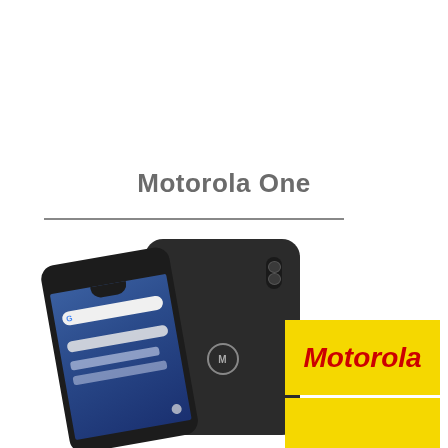Motorola One
[Figure (photo): Two Motorola One smartphones shown front and back in black color]
[Figure (logo): Motorola brand logo in red italic text on yellow background]